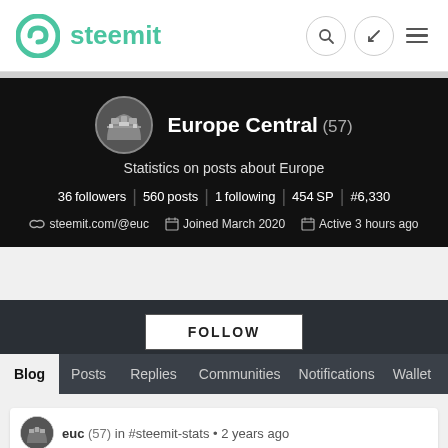[Figure (logo): Steemit logo with teal circular icon and teal 'steemit' text]
steemit
[Figure (photo): Europe Central profile with castle avatar image, username Europe Central (57), bio 'Statistics on posts about Europe', stats: 36 followers, 560 posts, 1 following, 454 SP, #6,330, link steemit.com/@euc, Joined March 2020, Active 3 hours ago]
Europe Central (57)
Statistics on posts about Europe
36 followers | 560 posts | 1 following | 454 SP | #6,330
steemit.com/@euc   Joined March 2020   Active 3 hours ago
FOLLOW
Blog  Posts  Replies  Communities  Notifications  Wallet
euc (57) in #steemit-stats • 2 years ago
[Figure (illustration): #UK, #UNITEDKINGDOM TOP PENDING PAYOUT POST banner with UK flag background, red bold text on light blue]